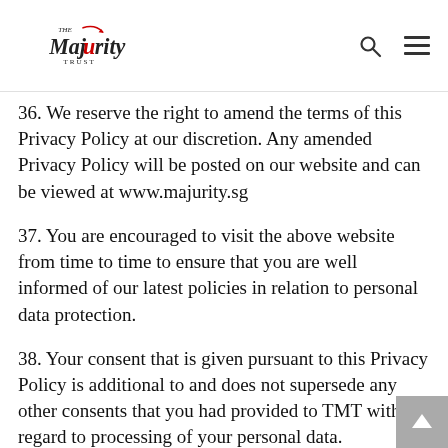The Majority Trust
36. We reserve the right to amend the terms of this Privacy Policy at our discretion. Any amended Privacy Policy will be posted on our website and can be viewed at www.majurity.sg
37. You are encouraged to visit the above website from time to time to ensure that you are well informed of our latest policies in relation to personal data protection.
38. Your consent that is given pursuant to this Privacy Policy is additional to and does not supersede any other consents that you had provided to TMT with regard to processing of your personal data.